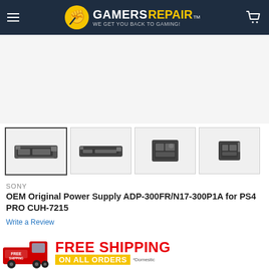GAMERS REPAIR - WE GET YOU BACK TO GAMING!
[Figure (photo): Four thumbnail images of OEM Original Power Supply ADP-300FR/N17-300P1A for PS4 PRO CUH-7215, showing front, back, and two detail angles of the power supply board.]
SONY
OEM Original Power Supply ADP-300FR/N17-300P1A for PS4 PRO CUH-7215
Write a Review
[Figure (infographic): Free Shipping on All Orders banner with red delivery truck on the left and red FREE SHIPPING text with yellow ON ALL ORDERS bar and *Domestic note on the right.]